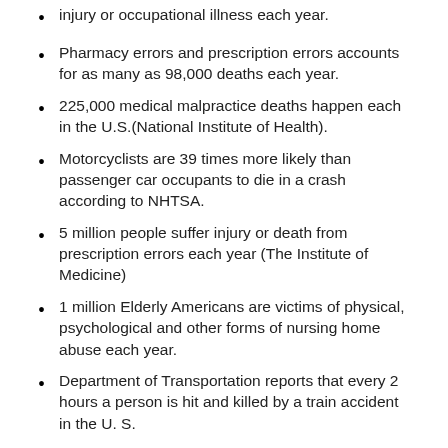injury or occupational illness each year.
Pharmacy errors and prescription errors accounts for as many as 98,000 deaths each year.
225,000 medical malpractice deaths happen each in the U.S.(National Institute of Health).
Motorcyclists are 39 times more likely than passenger car occupants to die in a crash according to NHTSA.
5 million people suffer injury or death from prescription errors each year (The Institute of Medicine)
1 million Elderly Americans are victims of physical, psychological and other forms of nursing home abuse each year.
Department of Transportation reports that every 2 hours a person is hit and killed by a train accident in the U. S.
There are 225,000 Prescription Drugs deaths each in the U.S. each year (National Institute of Health).
Personal Injury Lawsuit New Orleans, LA